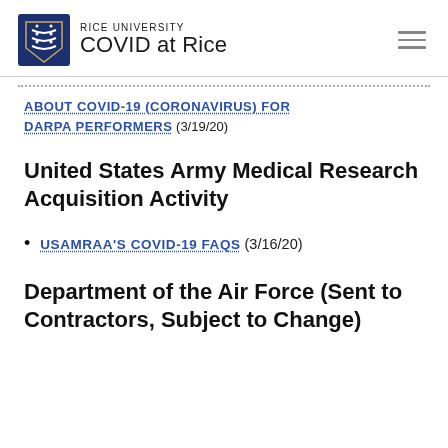RICE UNIVERSITY COVID at Rice
ABOUT COVID-19 (CORONAVIRUS) FOR DARPA PERFORMERS (3/19/20)
United States Army Medical Research Acquisition Activity
USAMRAA'S COVID-19 FAQS (3/16/20)
Department of the Air Force (Sent to Contractors, Subject to Change)